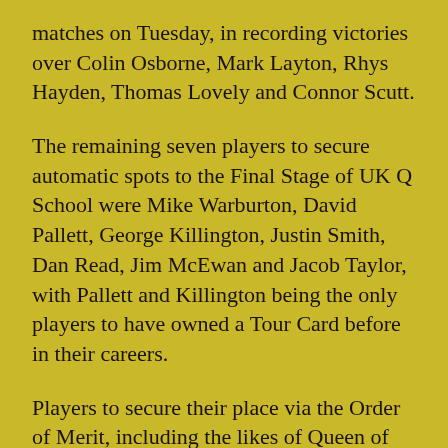matches on Tuesday, in recording victories over Colin Osborne, Mark Layton, Rhys Hayden, Thomas Lovely and Connor Scutt.
The remaining seven players to secure automatic spots to the Final Stage of UK Q School were Mike Warburton, David Pallett, George Killington, Justin Smith, Dan Read, Jim McEwan and Jacob Taylor, with Pallett and Killington being the only players to have owned a Tour Card before in their careers.
Players to secure their place via the Order of Merit, including the likes of Queen of the Palace Fallon Sherrock, Former World Champion Richie Burnett, as well as Danny Lauby and Diogo Portela.
European Q School